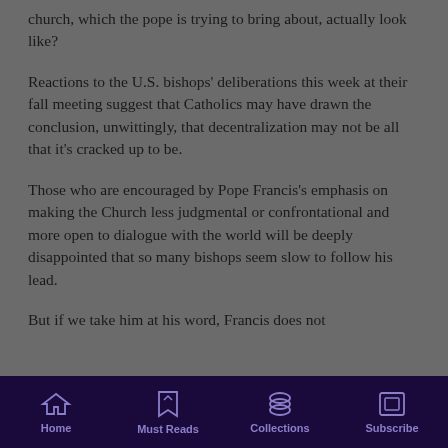church, which the pope is trying to bring about, actually look like?
Reactions to the U.S. bishops' deliberations this week at their fall meeting suggest that Catholics may have drawn the conclusion, unwittingly, that decentralization may not be all that it's cracked up to be.
Those who are encouraged by Pope Francis's emphasis on making the Church less judgmental or confrontational and more open to dialogue with the world will be deeply disappointed that so many bishops seem slow to follow his lead.
But if we take him at his word, Francis does not
Home  Must Reads  Collections  Subscribe